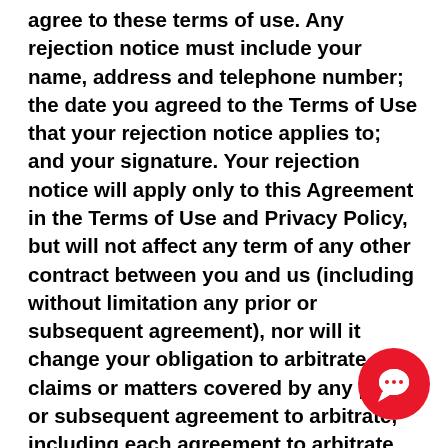agree to these terms of use. Any rejection notice must include your name, address and telephone number; the date you agreed to the Terms of Use that your rejection notice applies to; and your signature. Your rejection notice will apply only to this Agreement in the Terms of Use and Privacy Policy, but will not affect any term of any other contract between you and us (including without limitation any prior or subsequent agreement), nor will it change your obligation to arbitrate claims or matters covered by any prior or subsequent agreement to arbitrate, including each agreement to arbitrate that arises pursuant to the Terms of Use on the Company's website which is not the subject of a valid rejection notice.
[Figure (other): Red circular chat/message button overlay in bottom-right corner]